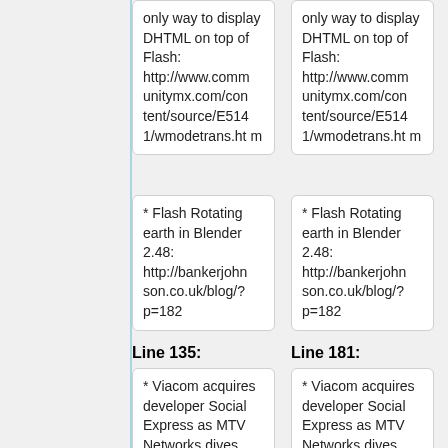only way to display DHTML on top of Flash: http://www.communitymx.com/content/source/E5141/wmodetrans.htm
only way to display DHTML on top of Flash: http://www.communitymx.com/content/source/E5141/wmodetrans.htm
* Flash Rotating earth in Blender 2.48: http://bankerjohnson.co.uk/blog/?p=182
* Flash Rotating earth in Blender 2.48: http://bankerjohnson.co.uk/blog/?p=182
Line 135:
Line 181:
* Viacom acquires developer Social Express as MTV Networks dives into social games
* Viacom acquires developer Social Express as MTV Networks dives into social games